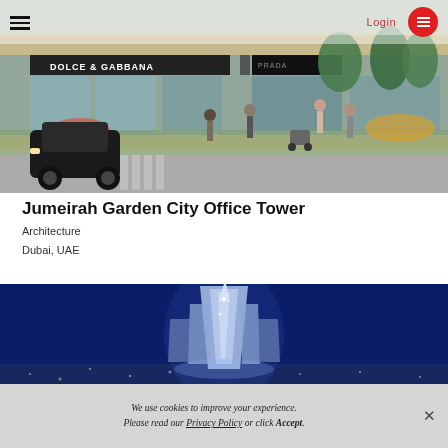Login
[Figure (photo): Street-level architectural rendering of a luxury shopping area with Dolce & Gabbana and other stores, pedestrians, trees, and a car in the foreground.]
Jumeirah Garden City Office Tower
Architecture
Dubai, UAE
[Figure (photo): Aerial night-time rendering of a tall illuminated skyscraper tower with dramatic spire against a dark blue sky with city lights below.]
We use cookies to improve your experience. Please read our Privacy Policy or click Accept.